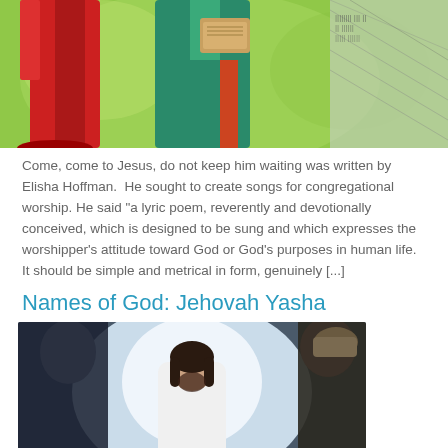[Figure (illustration): Illustration showing biblical figures in robes (red and green) in an outdoor setting with green background, and a sketched figure on the right side]
Come, come to Jesus, do not keep him waiting was written by Elisha Hoffman.  He sought to create songs for congregational worship. He said "a lyric poem, reverently and devotionally conceived, which is designed to be sung and which expresses the worshipper's attitude toward God or God's purposes in human life. It should be simple and metrical in form, genuinely [...]
Names of God: Jehovah Yasha
[Figure (photo): Photo of a man with long dark hair and beard dressed in white robes, standing in a bright light surrounded by other figures in dark clothing, depicting a biblical scene]